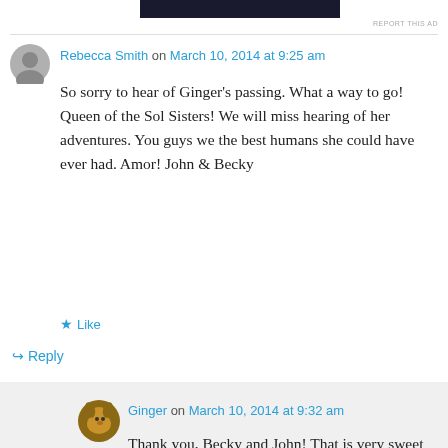[Figure (other): Dark advertisement banner bar at top]
REPORT THIS AD
Rebecca Smith on March 10, 2014 at 9:25 am
So sorry to hear of Ginger's passing. What a way to go! Queen of the Sol Sisters! We will miss hearing of her adventures. You guys we the best humans she could have ever had. Amor! John & Becky
★ Like
↳ Reply
Ginger on March 10, 2014 at 9:32 am
Thank you, Becky and John! That is very sweet of you to say! She was the best and